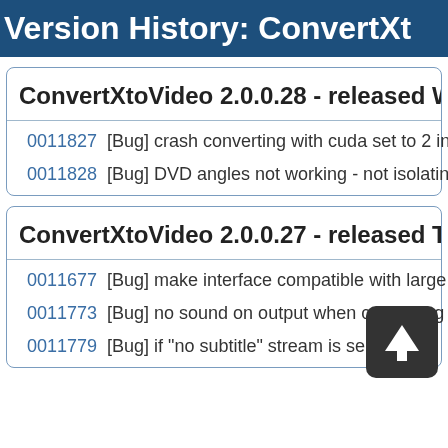Version History: ConvertXt
ConvertXtoVideo 2.0.0.28 - released Wed August
0011827   [Bug] crash converting with cuda set to 2 instances
0011828   [Bug] DVD angles not working - not isolating the angles
ConvertXtoVideo 2.0.0.27 - released Tue July 19
0011677   [Bug] make interface compatible with large fonts
0011773   [Bug] no sound on output when converting to 5.1 channels
0011779   [Bug] if "no subtitle" stream is selected new br loaded a subtitle str